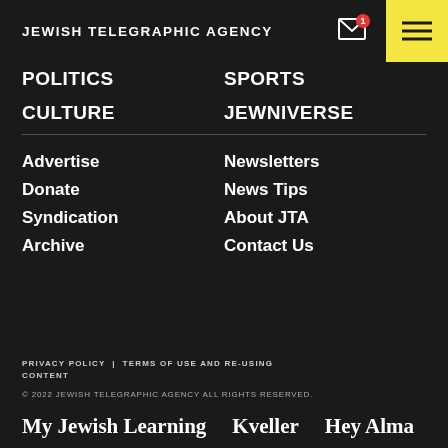JEWISH TELEGRAPHIC AGENCY
POLITICS
SPORTS
CULTURE
JEWNIVERSE
Advertise
Newsletters
Donate
News Tips
Syndication
About JTA
Archive
Contact Us
PRIVACY POLICY | TERMS OF USE AND RE-USING CONTENT
© 2022 JEWISH TELEGRAPHIC AGENCY ALL RIGHTS RESERVED.
My Jewish Learning   Kveller   Hey Alma